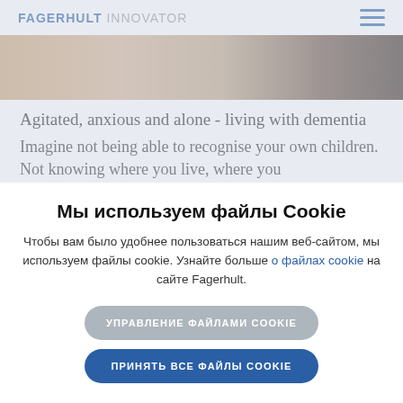FAGERHULT INNOVATOR
[Figure (photo): Partial view of a person's face/skin, close-up photo, warm tones]
Agitated, anxious and alone - living with dementia
Imagine not being able to recognise your own children. Not knowing where you live, where you
Мы используем файлы Cookie
Чтобы вам было удобнее пользоваться нашим веб-сайтом, мы используем файлы cookie. Узнайте больше о файлах cookie на сайте Fagerhult.
УПРАВЛЕНИЕ ФАЙЛАМИ COOKIE
ПРИНЯТЬ ВСЕ ФАЙЛЫ COOKIE